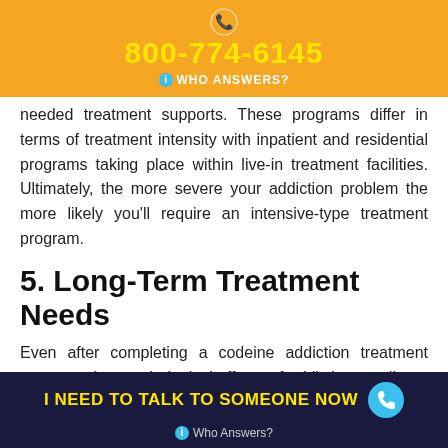800-774-6145 WHO ANSWERS?
needed treatment supports. These programs differ in terms of treatment intensity with inpatient and residential programs taking place within live-in treatment facilities. Ultimately, the more severe your addiction problem the more likely you'll require an intensive-type treatment program.
5. Long-Term Treatment Needs
Even after completing a codeine addiction treatment program, the psychological effects of addiction can linger for months or years, especially in cases of chronic addiction. At this point, staying engaged in the recovery process will be the only thing standing between you and an unexpected
I NEED TO TALK TO SOMEONE NOW Who Answers?